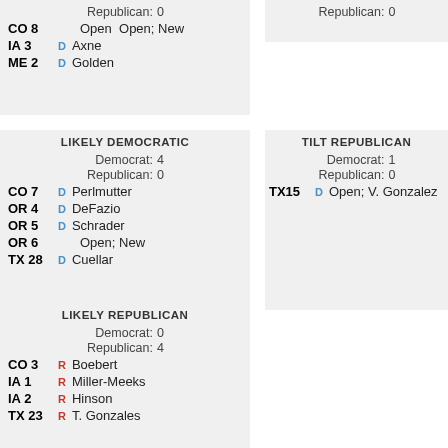| Republican: | 0 |
| CO 8 | Open | Open; New |
| IA 3 | D | Axne |
| ME 2 | D | Golden |
| Republican: | 0 |
LIKELY DEMOCRATIC
| Democrat: | 4 |
| Republican: | 0 |
| CO 7 | D | Perlmutter |
| OR 4 | D | DeFazio |
| OR 5 | D | Schrader |
| OR 6 |  | Open; New |
| TX 28 | D | Cuellar |
TILT REPUBLICAN
| Democrat: | 1 |
| Republican: | 0 |
| TX15 | D | Open; V. Gonzalez |
LIKELY REPUBLICAN
| Democrat: | 0 |
| Republican: | 4 |
| CO 3 | R | Boebert |
| IA 1 | R | Miller-Meeks |
| IA 2 | R | Hinson |
| TX 23 | R | T. Gonzales |